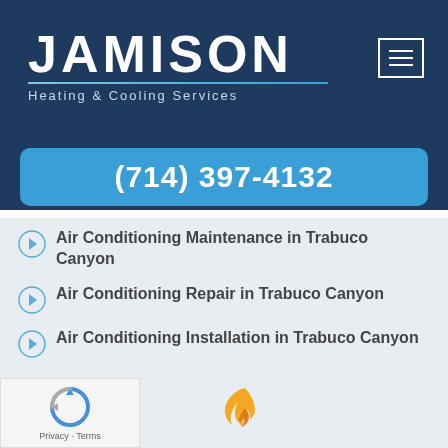JAMISON
Heating & Cooling Services
(714) 397-4132
Air Conditioning Maintenance in Trabuco Canyon
Air Conditioning Repair in Trabuco Canyon
Air Conditioning Installation in Trabuco Canyon
Privacy · Terms